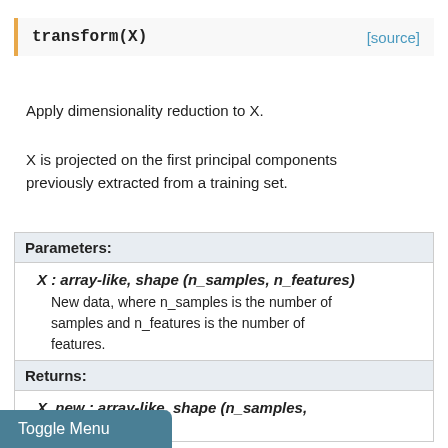transform(X) [source]
Apply dimensionality reduction to X.
X is projected on the first principal components previously extracted from a training set.
| Parameters: |
| --- |
| X : array-like, shape (n_samples, n_features) | New data, where n_samples is the number of samples and n_features is the number of features. |
| Returns: |
| --- |
| X_new : array-like, shape (n_samples, n_components) |  |
Toggle Menu